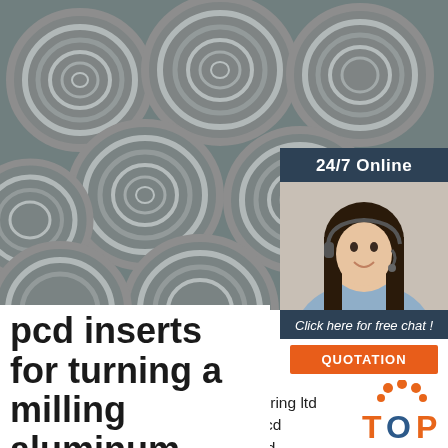[Figure (photo): Steel wire rods coiled in circles, stacked together, industrial metal manufacturing photo]
[Figure (infographic): 24/7 Online chat widget with a woman wearing a headset, dark blue background, with 'Click here for free chat!' text and orange QUOTATION button]
pcd inserts for turning and milling aluminum alloy
2020-5-7u2002·u2002swift manufacturing ltd supply with polycrystalline diamond pcd inserts for turning and face milling, pcd cutting tool inserts which is an indexable inserts widely used in cnc machining for fine finishing aluminum alloy and
[Figure (logo): TOP logo with orange dots arranged above text]